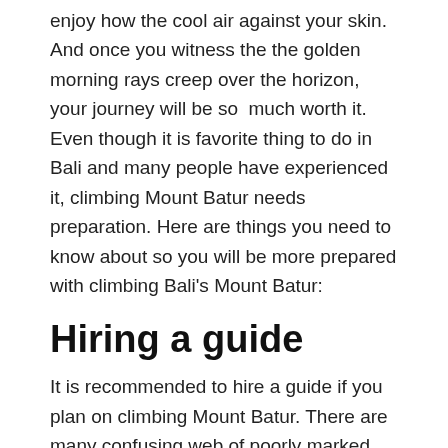enjoy how the cool air against your skin. And once you witness the the golden morning rays creep over the horizon, your journey will be so  much worth it. Even though it is favorite thing to do in Bali and many people have experienced it, climbing Mount Batur needs preparation. Here are things you need to know about so you will be more prepared with climbing Bali's Mount Batur:
Hiring a guide
It is recommended to hire a guide if you plan on climbing Mount Batur. There are many confusing web of poorly marked trails so it can be difficult for you to navigate your way. With a local guide, you will be directed to the right path and avoid any dangerous trails. The guide will help you to reach the peak